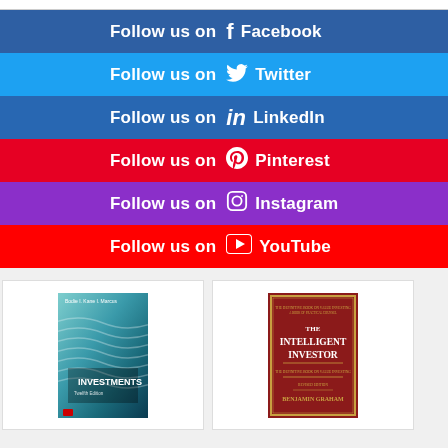Follow us on Facebook
Follow us on Twitter
Follow us on LinkedIn
Follow us on Pinterest
Follow us on Instagram
Follow us on YouTube
[Figure (photo): Book cover: Investments by Bodie, Kane, Marcus]
[Figure (photo): Book cover: The Intelligent Investor by Benjamin Graham]